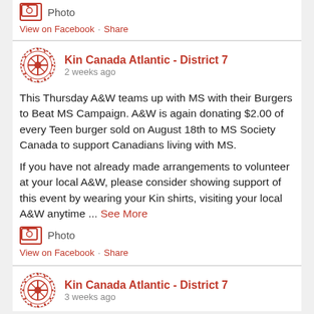[Figure (screenshot): Photo icon button with red border]
View on Facebook  ·  Share
[Figure (logo): Kin Canada circular logo]
Kin Canada Atlantic - District 7
2 weeks ago
This Thursday A&W teams up with MS with their Burgers to Beat MS Campaign. A&W is again donating $2.00 of every Teen burger sold on August 18th to MS Society Canada to support Canadians living with MS.
If you have not already made arrangements to volunteer at your local A&W, please consider showing support of this event by wearing your Kin shirts, visiting your local A&W anytime ... See More
[Figure (screenshot): Photo icon button with red border]
View on Facebook  ·  Share
[Figure (logo): Kin Canada circular logo]
Kin Canada Atlantic - District 7
3 weeks ago